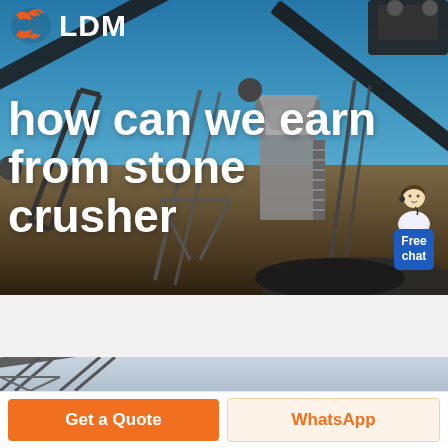[Figure (photo): Hero banner showing an industrial stone crusher / aggregate conveyor plant with blue sky background. LDM logo in top-left corner.]
how can we earn from stone crusher
[Figure (photo): Secondary strip image showing conveyor belt machinery at an aggregate/mining plant with light grey sky.]
Get a Quote
WhatsApp